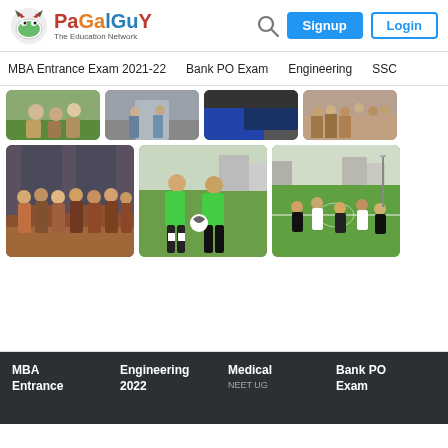PaGaLGuY - The Education Network
MBA Entrance Exam 2021-22  Bank PO Exam  Engineering  SSC
[Figure (photo): Grid of 7 photos showing students in outdoor and indoor settings, including group photos and football/soccer game scenes]
MBA Entrance  Engineering 2022  Medical NEET UG  Bank PO Exam